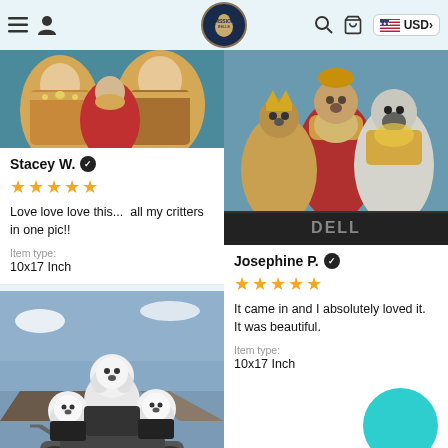Navigation header with menu, user, logo, search, cart, USD currency selector
[Figure (photo): Product photo showing dogs dressed as royals in ornate costumes (partial, top cropped)]
Stacey W. ✓
★★★★★
Love love love this...  all my critters in one pic!!
Item type:
10x17 Inch
[Figure (photo): Product photo showing three dogs dressed in royal/king costumes with crowns and jeweled clothing, displayed on a monitor or screen]
Josephine P. ✓
★★★★★
It came in and I absolutely loved it.  It was beautiful.
Item type:
10x17 Inch
[Figure (photo): Product photo showing white fluffy dogs on motorcycles against mountain backdrop]